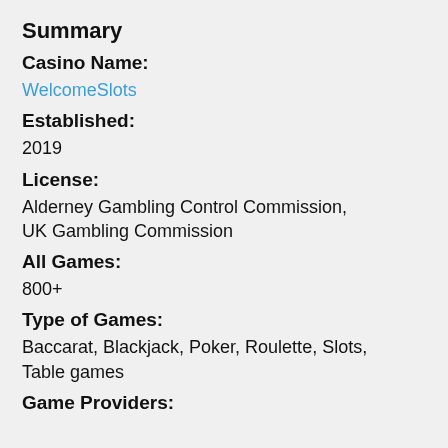Summary
Casino Name:
WelcomeSlots
Established:
2019
License:
Alderney Gambling Control Commission, UK Gambling Commission
All Games:
800+
Type of Games:
Baccarat, Blackjack, Poker, Roulette, Slots, Table games
Game Providers: